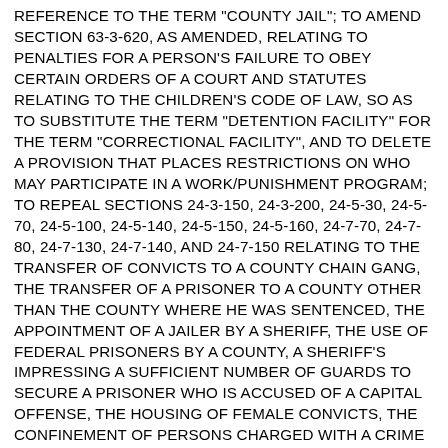REFERENCE TO THE TERM "COUNTY JAIL"; TO AMEND SECTION 63-3-620, AS AMENDED, RELATING TO PENALTIES FOR A PERSON'S FAILURE TO OBEY CERTAIN ORDERS OF A COURT AND STATUTES RELATING TO THE CHILDREN'S CODE OF LAW, SO AS TO SUBSTITUTE THE TERM "DETENTION FACILITY" FOR THE TERM "CORRECTIONAL FACILITY", AND TO DELETE A PROVISION THAT PLACES RESTRICTIONS ON WHO MAY PARTICIPATE IN A WORK/PUNISHMENT PROGRAM; TO REPEAL SECTIONS 24-3-150, 24-3-200, 24-5-30, 24-5-70, 24-5-100, 24-5-140, 24-5-150, 24-5-160, 24-7-70, 24-7-80, 24-7-130, 24-7-140, AND 24-7-150 RELATING TO THE TRANSFER OF CONVICTS TO A COUNTY CHAIN GANG, THE TRANSFER OF A PRISONER TO A COUNTY OTHER THAN THE COUNTY WHERE HE WAS SENTENCED, THE APPOINTMENT OF A JAILER BY A SHERIFF, THE USE OF FEDERAL PRISONERS BY A COUNTY, A SHERIFF'S IMPRESSING A SUFFICIENT NUMBER OF GUARDS TO SECURE A PRISONER WHO IS ACCUSED OF A CAPITAL OFFENSE, THE HOUSING OF FEMALE CONVICTS, THE CONFINEMENT OF PERSONS CHARGED WITH A CRIME IN A PRISON LOCATED IN AN INDUSTRIAL COMMUNITY, THE LEASE OF COUNTY CONVICTS, THE DIETING AND CLOTHING AND MAINTENANCE OF CERTAIN PRISONERS BY LOCAL GOVERNMENTAL AUTHORITIES, AND THE